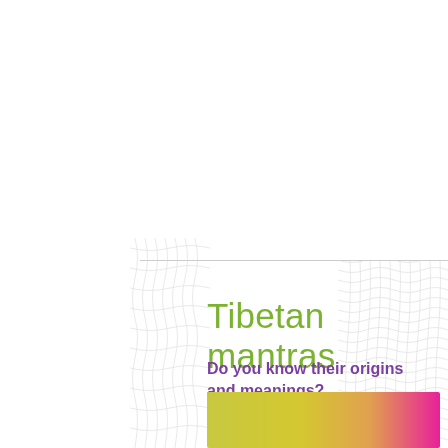[Figure (illustration): Decorative wavy line pattern on right side of page in light gray]
[Figure (illustration): Decorative wavy/crossed line pattern on lower left side of page in light gray]
Tibetan mantras
Do you know their origins and meanings?
[Figure (illustration): Gradient rectangle blending from yellow-green on left to pink/magenta on right]